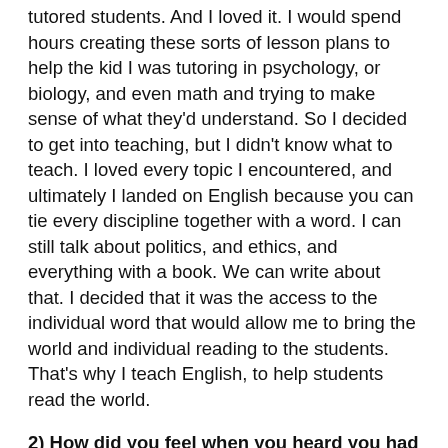tutored students. And I loved it. I would spend hours creating these sorts of lesson plans to help the kid I was tutoring in psychology, or biology, and even math and trying to make sense of what they'd understand. So I decided to get into teaching, but I didn't know what to teach. I loved every topic I encountered, and ultimately I landed on English because you can tie every discipline together with a word. I can still talk about politics, and ethics, and everything with a book. We can write about that. I decided that it was the access to the individual word that would allow me to bring the world and individual reading to the students. That's why I teach English, to help students read the world.
2) How did you feel when you heard you had been selected to receive the award?
I was blown away. People are here for years and